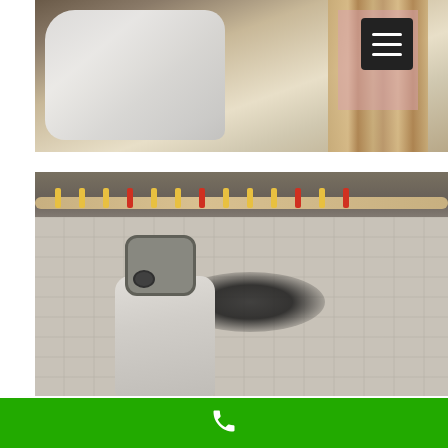[Figure (photo): Worker in white protective suit applying insulation or treatment in an attic space with pink foam insulation and wooden beams visible]
[Figure (photo): Worker wearing white protective suit and gas mask applying mold remediation or spray treatment to bubble wrap insulation wall in a basement or crawl space. Dark mold patches visible on the wall behind clear insulation sheeting. Yellow and red clips holding horizontal bar at top.]
[Figure (infographic): Green bar at bottom with white phone/call icon]